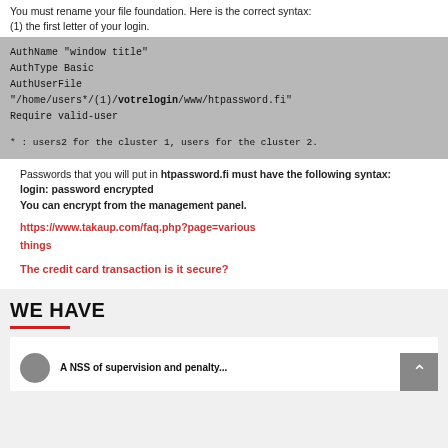You must rename your file foundation. Here is the correct syntax:
(1) the first letter of your login.
AuthName "window title"
AuthType Basic
AuthUserFile
"/home/users*/(1)/votrelogin/www/htpassword.fi"
Require valid-user

* : users2 for the cluster 1, users for the cluster 2.
Passwords that you will put in htpassword.fi must have the following syntax:
login: password encrypted
You can encrypt from the management panel.
https://www.takaup.com/faq.php?page=variousthings
The credit card transaction is it secure?
WE HAVE